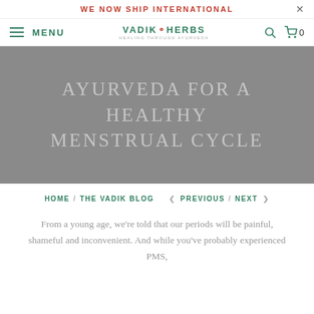WE NOW SHIP INTERNATIONAL
MENU  VADIKOHERBS HEALING THROUGH AYURVEDA  0
[Figure (illustration): Gray hero banner image with faded white text reading AYURVEDA FOR A HEALTHY MENSTRUAL CYCLE]
AYURVEDA FOR A HEALTHY MENSTRUAL CYCLE
HOME / THE VADIK BLOG  < PREVIOUS / NEXT >
From a young age, we're told that our periods will be painful, shameful and inconvenient. And while you've probably experienced PMS,